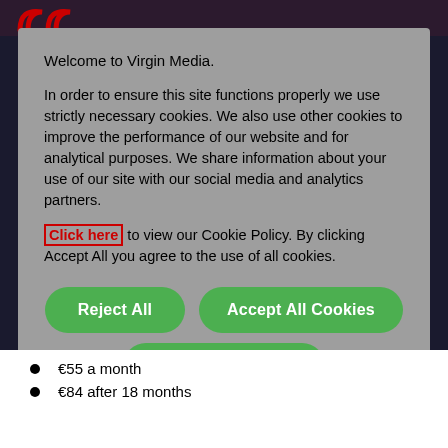[Figure (logo): Virgin Media logo arcs in red/dark at top left of header]
Welcome to Virgin Media.
In order to ensure this site functions properly we use strictly necessary cookies. We also use other cookies to improve the performance of our website and for analytical purposes. We share information about your use of our site with our social media and analytics partners.
Click here to view our Cookie Policy. By clicking Accept All you agree to the use of all cookies.
Reject All
Accept All Cookies
Manage Cookies
€55 a month
€84 after 18 months